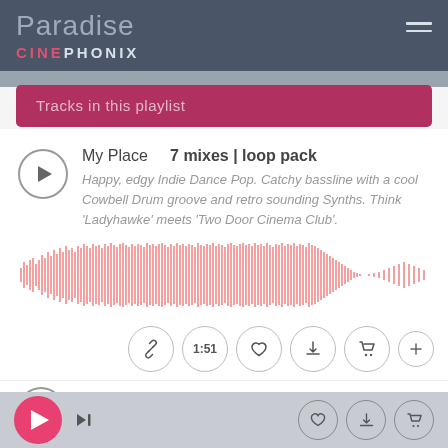Paradise
CINEPHONIX
Tracks in this playlist
My Place   7 mixes | loop pack
Happy, edgy Indie Dance Pop. Catchy bassline with a cool Cowbell Drum groove and retro sounding Synths. Think 'Ladyhawke' meets 'Two Door Cinema Club'.
[Figure (other): Audio waveform visualization showing pink/salmon colored waveform for the track 'My Place']
1:51
White Sand   5 mixes | loop pack